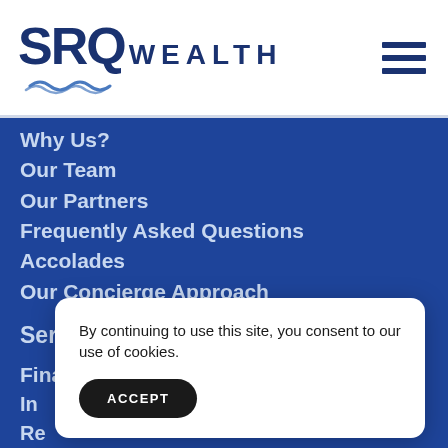[Figure (logo): SRQ Wealth logo with wave graphic]
Why Us?
Our Team
Our Partners
Frequently Asked Questions
Accolades
Our Concierge Approach
Services
Financial Planning
In...
Re...
Es...
Ta...
By continuing to use this site, you consent to our use of cookies.
ACCEPT